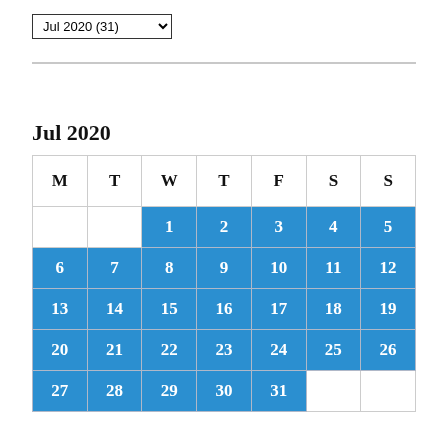[Figure (other): Dropdown selector showing 'Jul 2020 (31)']
Jul 2020
| M | T | W | T | F | S | S |
| --- | --- | --- | --- | --- | --- | --- |
|  |  | 1 | 2 | 3 | 4 | 5 |
| 6 | 7 | 8 | 9 | 10 | 11 | 12 |
| 13 | 14 | 15 | 16 | 17 | 18 | 19 |
| 20 | 21 | 22 | 23 | 24 | 25 | 26 |
| 27 | 28 | 29 | 30 | 31 |  |  |